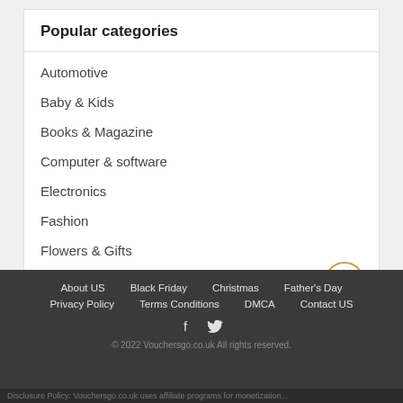Popular categories
Automotive
Baby & Kids
Books & Magazine
Computer & software
Electronics
Fashion
Flowers & Gifts
Food & Drinks
About US   Black Friday   Christmas   Father's Day   Privacy Policy   Terms Conditions   DMCA   Contact US   © 2022 Vouchersgo.co.uk All rights reserved.   Disclosure Policy: Vouchersgo.co.uk uses affiliate programs for monetization...